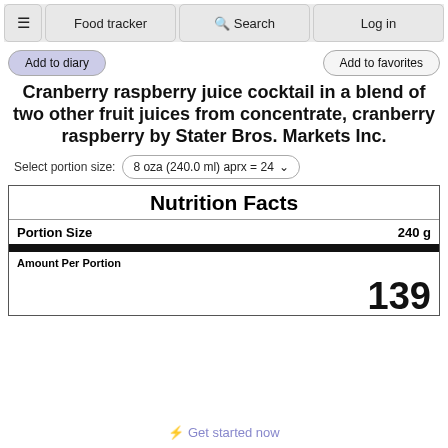≡  Food tracker  🔍 Search  Log in
Add to diary
Add to favorites
Cranberry raspberry juice cocktail in a blend of two other fruit juices from concentrate, cranberry raspberry by Stater Bros. Markets Inc.
Select portion size: 8 oza (240.0 ml) aprx = 24
| Nutrition Facts |  |
| --- | --- |
| Portion Size | 240 g |
| Amount Per Portion |  |
| Calories | 139 |
⚡ Get started now